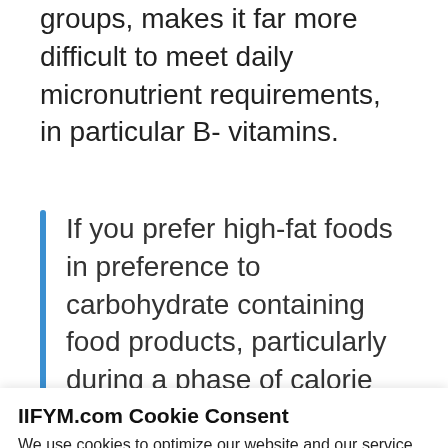groups, makes it far more difficult to meet daily micronutrient requirements, in particular B- vitamins.
If you prefer high-fat foods in preference to carbohydrate containing food products, particularly during a phase of calorie deficit, and
IIFYM.com Cookie Consent
We use cookies to optimize our website and our service.
Cookie Policy - Privacy statement
Accept